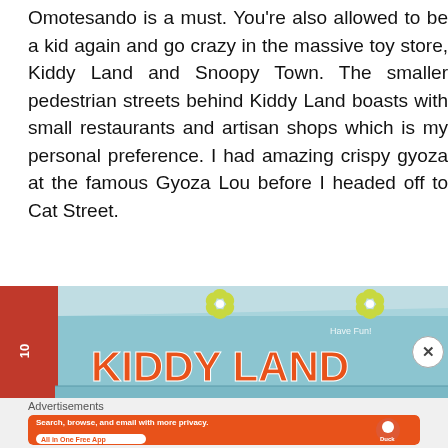Omotesando is a must. You're also allowed to be a kid again and go crazy in the massive toy store, Kiddy Land and Snoopy Town. The smaller pedestrian streets behind Kiddy Land boasts with small restaurants and artisan shops which is my personal preference. I had amazing crispy gyoza at the famous Gyoza Lou before I headed off to Cat Street.
[Figure (photo): Photo of the Kiddy Land store exterior sign in Omotesando, Tokyo. The sign shows 'KIDDY LAND' in large red letters on a teal/blue-green building facade with decorative flower/pinwheel designs. A red partial sign is visible on the left edge.]
Advertisements
[Figure (screenshot): DuckDuckGo advertisement banner with orange background. Text reads 'Search, browse, and email with more privacy. All in One Free App' with a smartphone mockup showing the DuckDuckGo logo and app icon on the right side.]